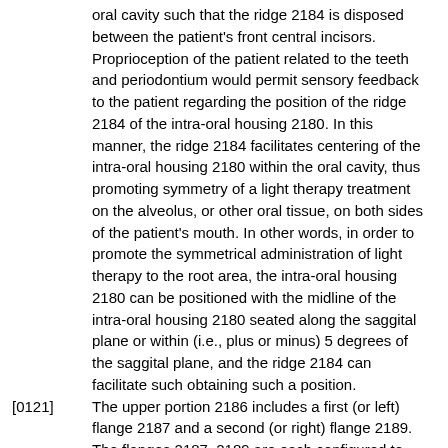oral cavity such that the ridge 2184 is disposed between the patient's front central incisors. Proprioception of the patient related to the teeth and periodontium would permit sensory feedback to the patient regarding the position of the ridge 2184 of the intra-oral housing 2180. In this manner, the ridge 2184 facilitates centering of the intra-oral housing 2180 within the oral cavity, thus promoting symmetry of a light therapy treatment on the alveolus, or other oral tissue, on both sides of the patient's mouth. In other words, in order to promote the symmetrical administration of light therapy to the root area, the intra-oral housing 2180 can be positioned with the midline of the intra-oral housing 2180 seated along the saggital plane or within (i.e., plus or minus) 5 degrees of the saggital plane, and the ridge 2184 can facilitate such obtaining such a position.
[0121] The upper portion 2186 includes a first (or left) flange 2187 and a second (or right) flange 2189. The flanges 2187, 2189 are each configured to apically displace oral soft tissue. More specifically, the flanges 2187, 2189 are each